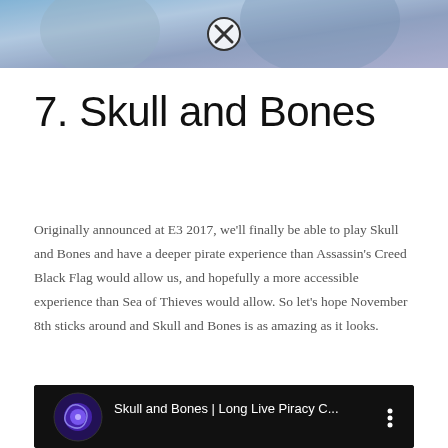[Figure (illustration): Partial game artwork showing fantasy/warrior character in blue armor, cropped at top of page with a close/X button overlay]
7. Skull and Bones
Originally announced at E3 2017, we'll finally be able to play Skull and Bones and have a deeper pirate experience than Assassin's Creed Black Flag would allow us, and hopefully a more accessible experience than Sea of Thieves would allow. So let's hope November 8th sticks around and Skull and Bones is as amazing as it looks.
[Figure (screenshot): YouTube embedded video thumbnail showing 'Skull and Bones | Long Live Piracy C...' with Ubisoft logo and three-dot menu, dark background with video preview below showing a person]